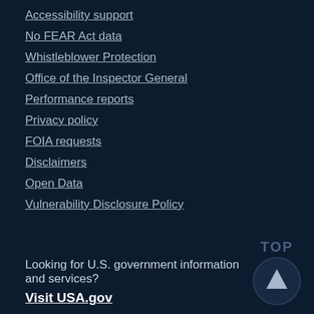Accessibility support
No FEAR Act data
Whistleblower Protection
Office of the Inspector General
Performance reports
Privacy policy
FOIA requests
Disclaimers
Open Data
Vulnerability Disclosure Policy
Looking for U.S. government information and services?
Visit USA.gov